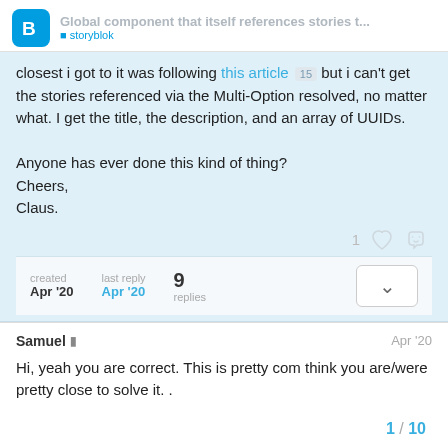Global component that itself references stories t...
closest i got to it was following this article 15 but i can't get the stories referenced via the Multi-Option resolved, no matter what. I get the title, the description, and an array of UUIDs.

Anyone has ever done this kind of thing?
Cheers,
Claus.
created Apr '20  last reply Apr '20  9 replies
Samuel  Apr '20
Hi, yeah you are correct. This is pretty com think you are/were pretty close to solve it. .